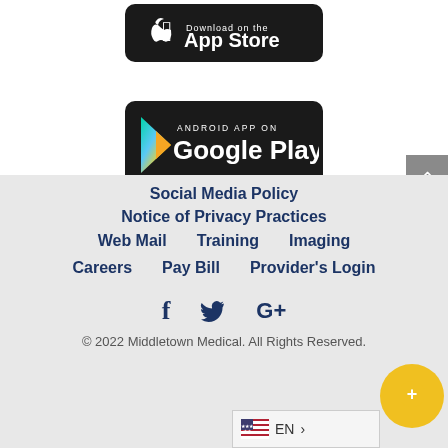[Figure (screenshot): App Store download button (black rounded rectangle) with Apple logo and 'App Store' text in white]
[Figure (screenshot): Google Play download button (black rounded rectangle) with Play Store triangle logo and 'ANDROID APP ON Google Play' text in white]
Social Media Policy
Notice of Privacy Practices
Web Mail   Training   Imaging
Careers   Pay Bill   Provider's Login
[Figure (illustration): Social media icons: Facebook (f), Twitter (bird), Google+ (G+) in dark navy blue]
© 2022 Middletown Medical. All Rights Reserved.
[Figure (other): Language selector showing US flag, EN text, and right arrow chevron]